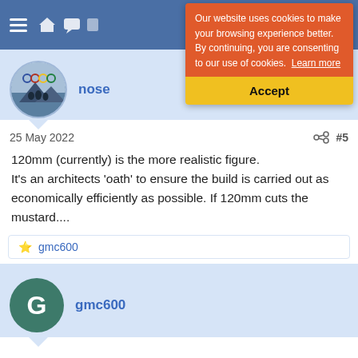Navigation bar with hamburger menu and icons
[Figure (screenshot): Cookie consent banner with orange background text 'Our website uses cookies to make your browsing experience better. By continuing, you are consenting to our use of cookies. Learn more' and yellow Accept button]
[Figure (photo): User avatar showing people on a mountain with Olympic rings, circular crop]
nose
25 May 2022
#5
120mm (currently) is the more realistic figure.
It's an architects 'oath' to ensure the build is carried out as economically efficiently as possible. If 120mm cuts the mustard....
gmc600
[Figure (photo): User avatar for gmc600 with dark teal/green background and letter G]
gmc600